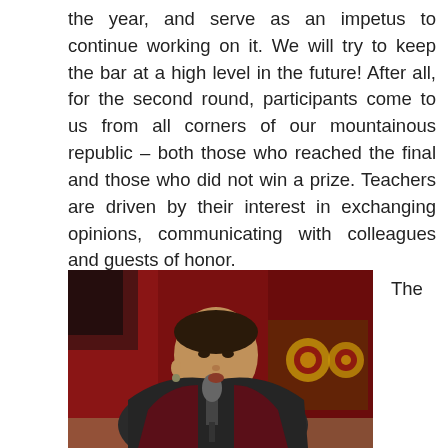the year, and serve as an impetus to continue working on it. We will try to keep the bar at a high level in the future! After all, for the second round, participants come to us from all corners of our mountainous republic – both those who reached the final and those who did not win a prize. Teachers are driven by their interest in exchanging opinions, communicating with colleagues and guests of honor.
[Figure (photo): A woman speaking into a microphone, wearing a dark shawl over a dark red/maroon top, standing in front of red curtains with golden decorative elements.]
The